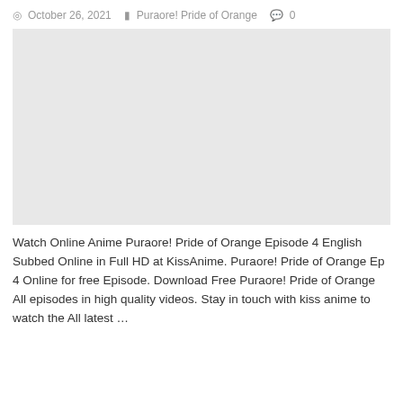October 26, 2021   Puraore! Pride of Orange   0
[Figure (photo): Blank/placeholder image for Puraore! Pride of Orange Episode 4]
Watch Online Anime Puraore! Pride of Orange Episode 4 English Subbed Online in Full HD at KissAnime. Puraore! Pride of Orange Ep 4 Online for free Episode. Download Free Puraore! Pride of Orange All episodes in high quality videos. Stay in touch with kiss anime to watch the All latest …